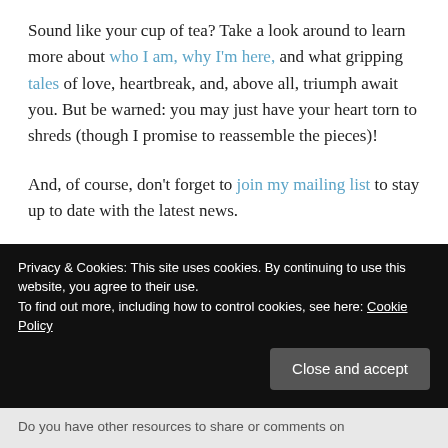Sound like your cup of tea?  Take a look around to learn more about who I am, why I'm here, and what gripping tales of love, heartbreak, and, above all, triumph await you.  But be warned:  you may just have your heart torn to shreds (though I promise to reassemble the pieces)!
And, of course, don't forget to join my mailing list to stay up to date with the latest news.
Privacy & Cookies: This site uses cookies. By continuing to use this website, you agree to their use.
To find out more, including how to control cookies, see here: Cookie Policy
Close and accept
Do you have other resources to share or comments on